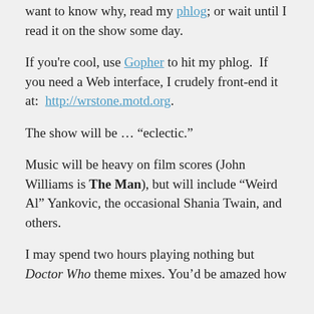want to know why, read my phlog; or wait until I read it on the show some day.
If you're cool, use Gopher to hit my phlog. If you need a Web interface, I crudely front-end it at: http://wrstone.motd.org.
The show will be ... “eclectic.”
Music will be heavy on film scores (John Williams is The Man), but will include “Weird Al” Yankovic, the occasional Shania Twain, and others.
I may spend two hours playing nothing but Doctor Who theme mixes. You’d be amazed how